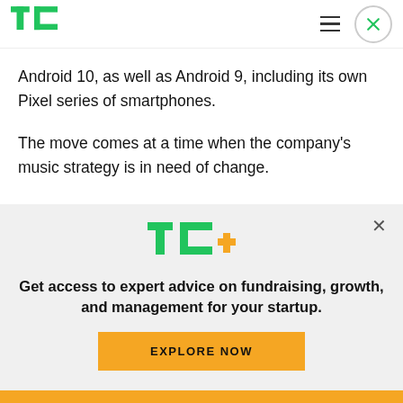TechCrunch header with logo, hamburger menu, and close button
Android 10, as well as Android 9, including its own Pixel series of smartphones.
The move comes at a time when the company's music strategy is in need of change.
Since the launch of YouTube Music in November 2015, Google has operated two separate music
[Figure (logo): TechCrunch TC+ promotional overlay panel with logo, tagline, and Explore Now button]
Get access to expert advice on fundraising, growth, and management for your startup.